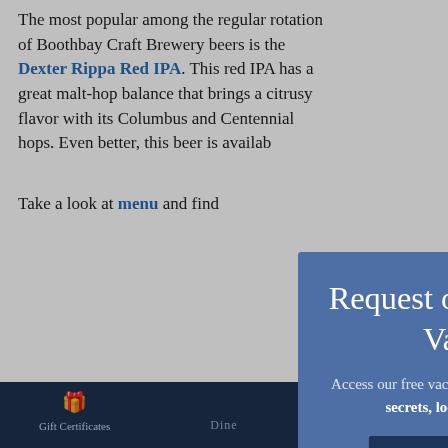The most popular among the regular rotation of Boothbay Craft Brewery beers is the Dexter Rippa Red IPA. This red IPA has a great malt-hop balance that brings a citrusy flavor with its Columbus and Centennial hops. Even better, this beer is availab...
Take a look at ... menu and find...
Maine Br...
Boothbay Craf... member of the... organization ke... the craft beer ... organization ar... brewers that p...
[Figure (screenshot): Modal popup overlay showing 'Request our Boothbay Harbor Vacation Guide' with subtitle text and a 'Get the Guide >' button on a blue background. An X close button is in the top right corner.]
Gift Certificates | Dine | Shop